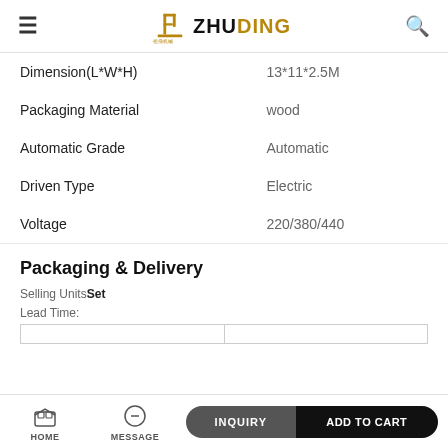ZHUDING
| Dimension(L*W*H) | 13*11*2.5M |
| Packaging Material | wood |
| Automatic Grade | Automatic |
| Driven Type | Electric |
| Voltage | 220/380/440 |
Packaging & Delivery
Selling Units Set
Lead Time:
HOME   MESSAGE   INQUIRY   ADD TO CART